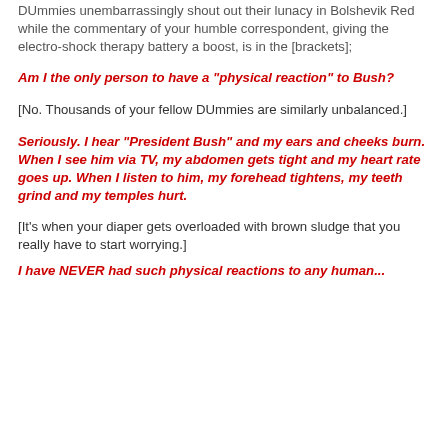DUmmies unembarrassingly shout out their lunacy in Bolshevik Red while the commentary of your humble correspondent, giving the electro-shock therapy battery a boost, is in the [brackets];
Am I the only person to have a "physical reaction" to Bush?
[No. Thousands of your fellow DUmmies are similarly unbalanced.]
Seriously. I hear "President Bush" and my ears and cheeks burn. When I see him via TV, my abdomen gets tight and my heart rate goes up. When I listen to him, my forehead tightens, my teeth grind and my temples hurt.
[It's when your diaper gets overloaded with brown sludge that you really have to start worrying.]
I have NEVER had such physical reactions to any human...